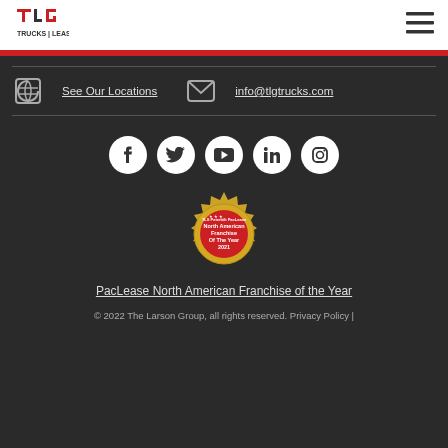[Figure (logo): TLG logo in red and black text]
[Figure (illustration): Hamburger menu icon (three horizontal lines)]
See Our Locations
info@tlgtrucks.com
[Figure (illustration): Social media icons: Facebook, Twitter, YouTube, LinkedIn, Instagram — white circles on dark background]
[Figure (illustration): Gold and red badge: TLS PeterbiltPacLease North American Franchise Of The Year 2021]
PacLease North American Franchise of the Year
© 2022 The Larson Group, all rights reserved. Privacy Policy |